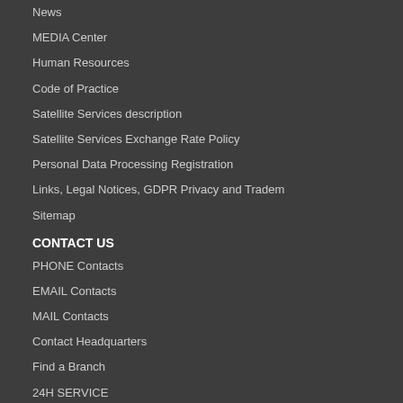News
MEDIA Center
Human Resources
Code of Practice
Satellite Services description
Satellite Services Exchange Rate Policy
Personal Data Processing Registration
Links, Legal Notices, GDPR Privacy and Tradem
Sitemap
CONTACT US
PHONE Contacts
EMAIL Contacts
MAIL Contacts
Contact Headquarters
Find a Branch
24H SERVICE
Popular Phones
Inmarsat IsatPhone Pro
Iridium Extreme 9575
Inmarsat BGAN 300
Satellite Handheld Phones Comparison
Satellite Modems Comparison
Satellite Marine Terminals Comparison